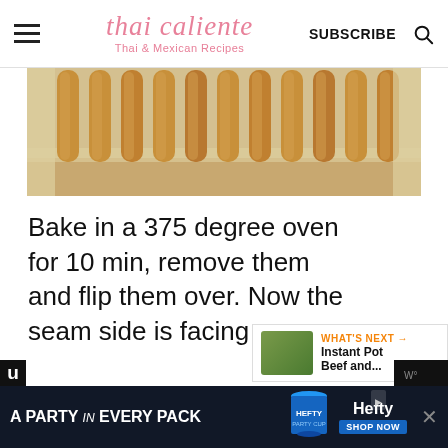thai caliente — Thai & Mexican Recipes — SUBSCRIBE
[Figure (photo): Overhead photo of baked egg rolls lined up on parchment paper on a baking sheet]
Bake in a 375 degree oven for 10 min, remove them and flip them over. Now the seam side is facing up.
If the seam is coming apart, spray more oil and press it back together. Then continue baking for 10 more minutes, or until...